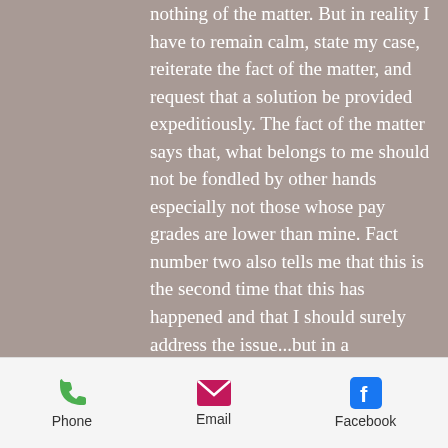nothing of the matter. But in reality I have to remain calm, state my case, reiterate the fact of the matter, and request that a solution be provided expeditiously. The fact of the matter says that, what belongs to me should not be fondled by other hands especially not those whose pay grades are lower than mine. Fact number two also tells me that this is the second time that this has happened and that I should surely address the issue...but in a professional manner.

Everything within you most times advises to take the low road, stoop to their level and eyes like the eye surely
Phone   Email   Facebook